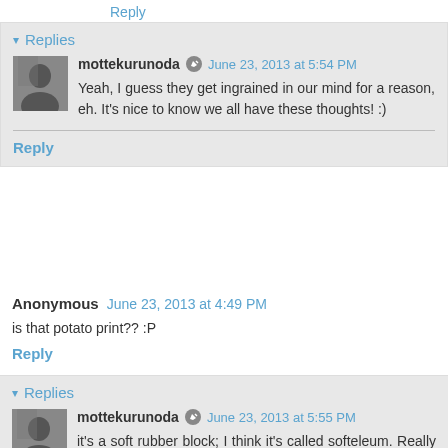Reply
Replies
mottekurunoda  June 23, 2013 at 5:54 PM
Yeah, I guess they get ingrained in our mind for a reason, eh. It's nice to know we all have these thoughts! :)
Reply
Anonymous  June 23, 2013 at 4:49 PM
is that potato print?? :P
Reply
Replies
mottekurunoda  June 23, 2013 at 5:55 PM
it's a soft rubber block; I think it's called softeleum. Really nice and easy to carve!